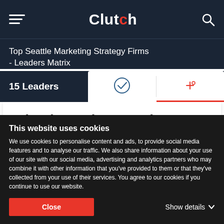Clutch
Top Seattle Marketing Strategy Firms - Leaders Matrix
15 Leaders
Clutch Leaders Matrix
Rollover to see company insights or click a company below
This website uses cookies
We use cookies to personalise content and ads, to provide social media features and to analyse our traffic. We also share information about your use of our site with our social media, advertising and analytics partners who may combine it with other information that you've provided to them or that they've collected from your use of their services. You agree to our cookies if you continue to use our website.
Close
Show details